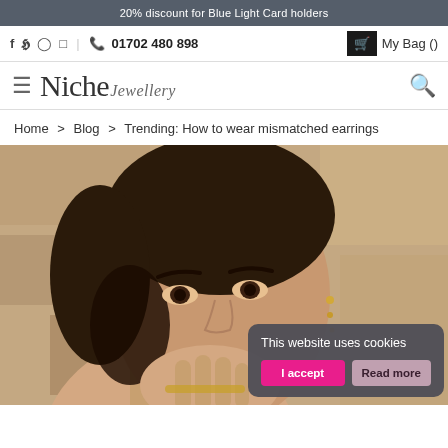20% discount for Blue Light Card holders
f  tw   pinterest  instagram  |  phone  01702 480 898  |  My Bag ()
Niche Jewellery
Home > Blog > Trending: How to wear mismatched earrings
[Figure (photo): Portrait of a young woman with dark hair resting her face on her hand, wearing multiple earrings. Cookie consent banner overlaid at bottom right: 'This website uses cookies' with 'I accept' and 'Read more' buttons.]